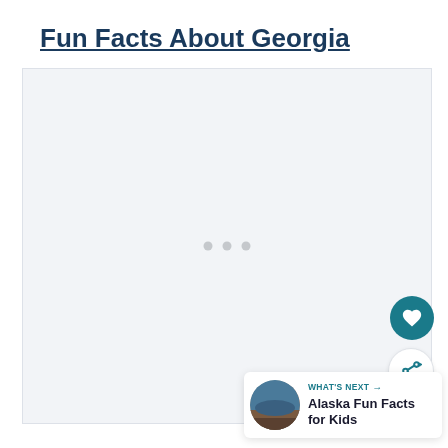Fun Facts About Georgia
[Figure (illustration): Light gray placeholder image box with three small dots in the center indicating loading content, with a heart/favorite button (teal circle) and a share button (white circle) overlaid on the bottom-right, and a 'WHAT'S NEXT → Alaska Fun Facts for Kids' card in the bottom-right corner with a circular thumbnail image of a landscape.]